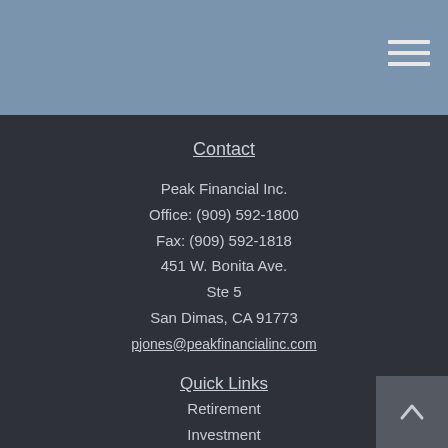Contact
Peak Financial Inc.
Office: (909) 592-1800
Fax: (909) 592-1818
451 W. Bonita Ave.
Ste 5
San Dimas, CA 91773
pjones@peakfinancialinc.com
Quick Links
Retirement
Investment
Estate
Insurance
Tax